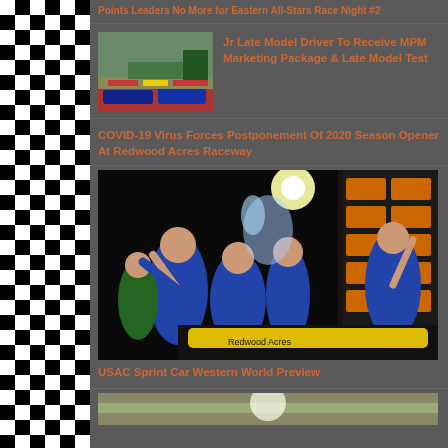[Figure (illustration): Checkered flag border on left side of page]
Points Leaders No More for Eastern All-Stars Race Night #2
[Figure (photo): Thumbnail of racing cars at a racetrack]
Jr Late Model Driver To Receive MPM Marketing Package & Late Model Test
COVID-19 Virus Forces Postponement Of 2020 Season Opener At Redwood Acres Raceway
[Figure (photo): People in blue shirts celebrating at a racing victory lane, with water being poured, at night near a branded sponsor backdrop]
USAC Sprint Car Western World Preview
[Figure (photo): Partial image of another photo at the bottom of the page]